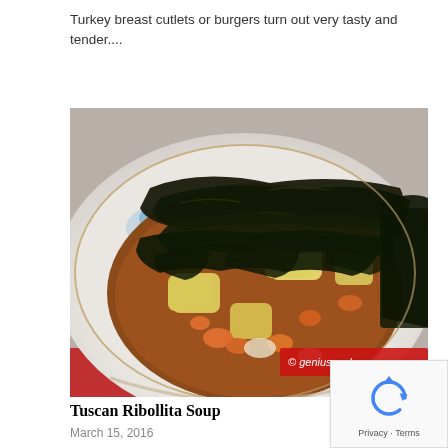Turkey breast cutlets or burgers turn out very tasty and tender....
[Figure (photo): Close-up photo of Tuscan Ribollita Soup in a decorative floral china bowl, showing dark leafy greens (kale/cavolo nero), chunks of potato, diced carrots, in a rich broth. Watermark '© geniuscook' visible in bottom right corner.]
Tuscan Ribollita Soup
March 15, 2016